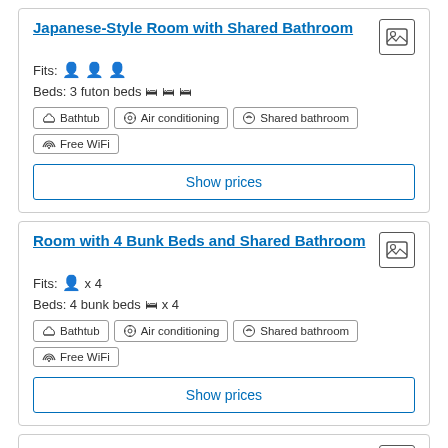Japanese-Style Room with Shared Bathroom
Fits: 👤 👤 👤
Beds: 3 futon beds 🛏 🛏 🛏
Bathtub | Air conditioning | Shared bathroom | Free WiFi
Show prices
Room with 4 Bunk Beds and Shared Bathroom
Fits: 👤 x 4
Beds: 4 bunk beds 🛏 x 4
Bathtub | Air conditioning | Shared bathroom | Free WiFi
Show prices
Single Room with Private Bathroom